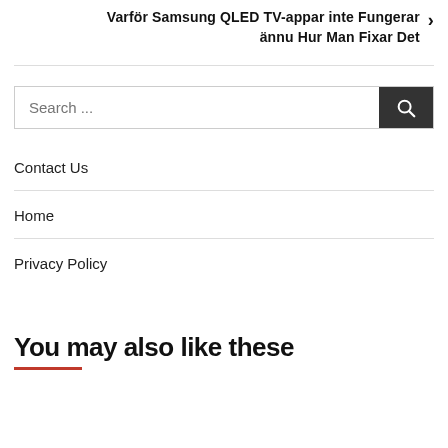Varför Samsung QLED TV-appar inte Fungerar ännu Hur Man Fixar Det
Search ...
Contact Us
Home
Privacy Policy
You may also like these